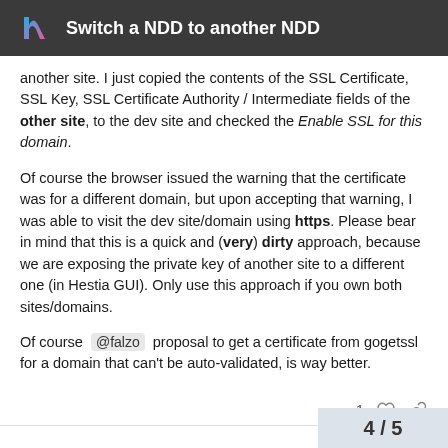Switch a NDD to another NDD
another site. I just copied the contents of the SSL Certificate, SSL Key, SSL Certificate Authority / Intermediate fields of the other site, to the dev site and checked the Enable SSL for this domain.
Of course the browser issued the warning that the certificate was for a different domain, but upon accepting that warning, I was able to visit the dev site/domain using https. Please bear in mind that this is a quick and (very) dirty approach, because we are exposing the private key of another site to a different one (in Hestia GUI). Only use this approach if you own both sites/domains.
Of course @falzo proposal to get a certificate from gogetssl for a domain that can't be auto-validated, is way better.
4 / 5